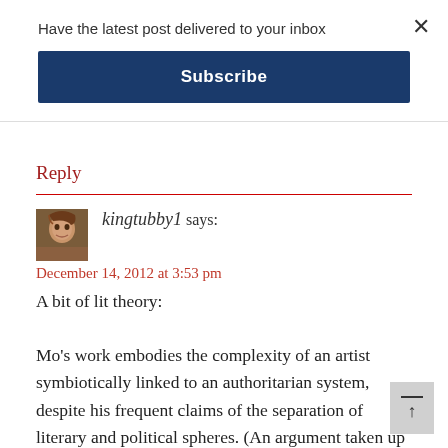Have the latest post delivered to your inbox
Subscribe
Reply
kingtubby1 says:
December 14, 2012 at 3:53 pm
A bit of lit theory:

Mo’s work embodies the complexity of an artist symbiotically linked to an authoritarian system, despite his frequent claims of the separation of literary and political spheres. (An argument taken up by Pankaj Mishra in relation to Western writers) Mo was a child of the post-Mao literary